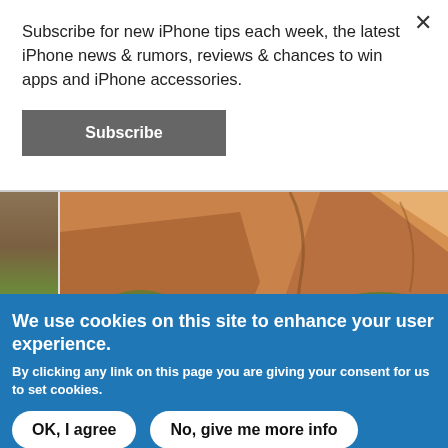Subscribe for new iPhone tips each week, the latest iPhone news & rumors, reviews & chances to win apps and iPhone accessories.
Subscribe
[Figure (photo): Outdoor landscape photo showing red rock canyon walls with desert scrub vegetation and rocky terrain. A thumbnail strip appears on the left side.]
We use cookies on this site to enhance your user experience.
By clicking any link on this page you are giving your consent for us to set cookies.
OK, I agree
No, give me more info